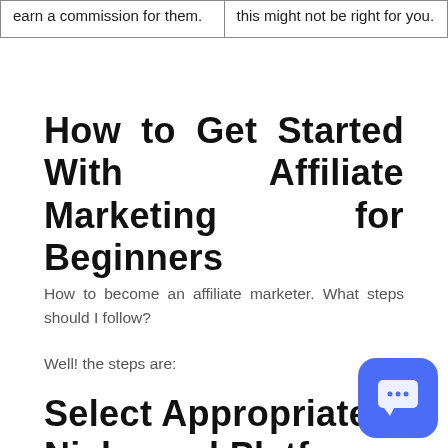| earn a commission for them. | this might not be right for you. |
How to Get Started With Affiliate Marketing for Beginners
How to become an affiliate marketer. What steps should I follow?
Well! the steps are:
Select Appropriate Niche and Platform